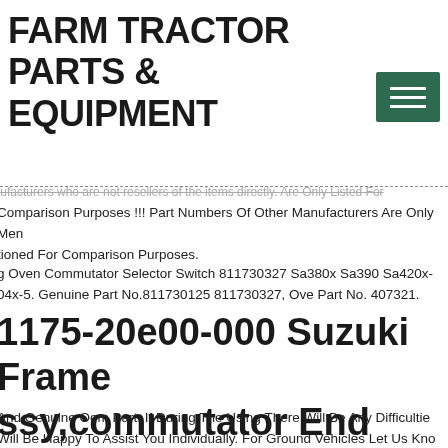FARM TRACTOR PARTS & EQUIPMENT
[Figure (other): Green hamburger menu button with three horizontal white lines on dark green background]
manufacturers who are not resellers of the items directly. Are Only Listed For Comparison Purposes !!! Part Numbers Of Other Manufacturers Are Only Mentioned For Comparison Purposes.
g Oven Commutator Selector Switch 811730327 Sa380x Sa390 Sa420x-04x-5. Genuine Part No.811730125 811730327, Ove Part No. 407321.
1175-20e00-000 Suzuki Frame Assy,commutator End 117520e00000, New Genuine Oem
And Genuine Oem Part. If During The Using There Will Be Any Difficulties Will Be Happy To Assist You Individually. For Ground Vehicles Let Us Know Full Chassis Number Or Vin.